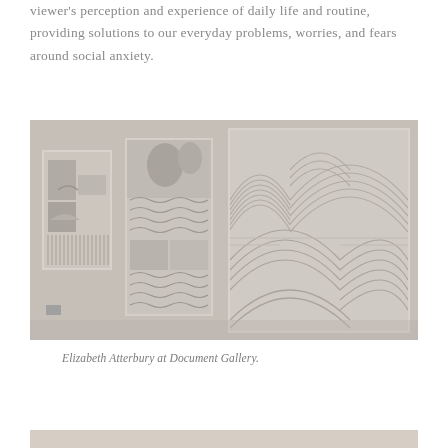viewer's perception and experience of daily life and routine, providing solutions to our everyday problems, worries, and fears around social anxiety.
[Figure (photo): Gallery installation photo showing three textured artwork panels mounted on a white wall. The rightmost panel is largest, featuring intricate arched/curved relief patterns in light beige tones. The center panel shows figurative forms with wavy patterns. The left panel is smaller with abstract architectural shapes.]
Elizabeth Atterbury at Document Gallery.